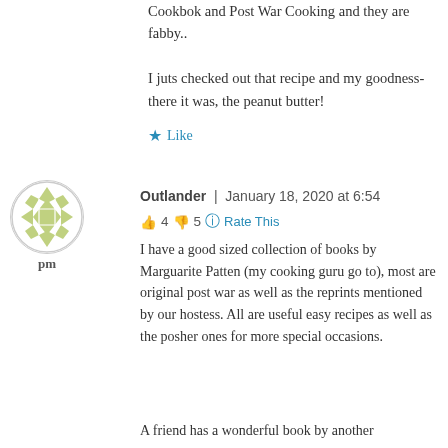Cookbok and Post War Cooking and they are fabby..
I juts checked out that recipe and my goodness- there it was, the peanut butter!
Like
Outlander | January 18, 2020 at 6:54 pm
👍 4 👎 5 ℹ️ Rate This
I have a good sized collection of books by Marguarite Patten (my cooking guru go to), most are original post war as well as the reprints mentioned by our hostess. All are useful easy recipes as well as the posher ones for more special occasions.
A friend has a wonderful book by another